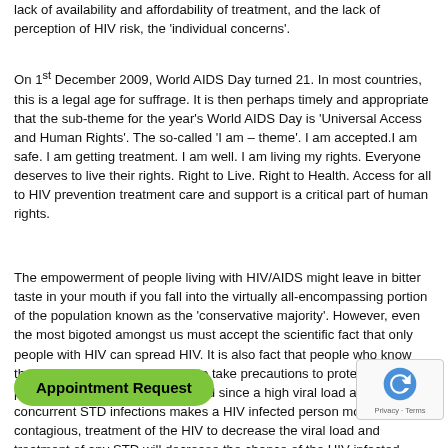lack of availability and affordability of treatment, and the lack of perception of HIV risk, the 'individual concerns'.
On 1st December 2009, World AIDS Day turned 21. In most countries, this is a legal age for suffrage. It is then perhaps timely and appropriate that the sub-theme for the year's World AIDS Day is 'Universal Access and Human Rights'. The so-called 'I am – theme'. I am accepted.I am safe. I am getting treatment. I am well. I am living my rights. Everyone deserves to live their rights. Right to Live. Right to Health. Access for all to HIV prevention treatment care and support is a critical part of human rights.
The empowerment of people living with HIV/AIDS might leave in bitter taste in your mouth if you fall into the virtually all-encompassing portion of the population known as the 'conservative majority'. However, even the most bigoted amongst us must accept the scientific fact that only people with HIV can spread HIV. It is also fact that people who know their HIV status are more likely to take precautions to protect their partners from contracting HIV. And since a high viral load and concurrent STD infections makes a HIV infected person more contagious, treatment of the HIV to decrease viral load and treatment of any STD will decrease the chance of the HIV infected person from spreading HIV. It is therefore rational to conclude that